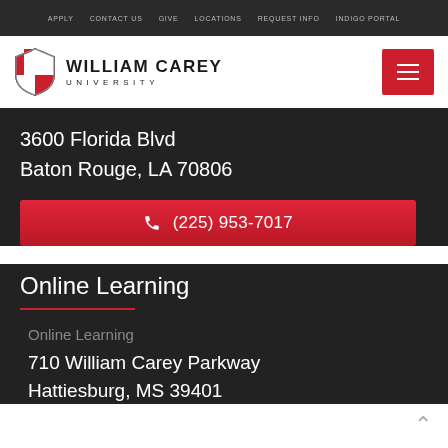APPLY   CONTACT US   GIVE   LOCATIONS   REQUEST INFO   INDIGO PORTAL
[Figure (logo): William Carey University shield logo with red and white cross design, next to text 'WILLIAM CAREY UNIVERSITY']
3600 Florida Blvd
Baton Rouge, LA 70806
(225) 953-7017
Online Learning
Online Learning
710 William Carey Parkway
Hattiesburg, MS 39401